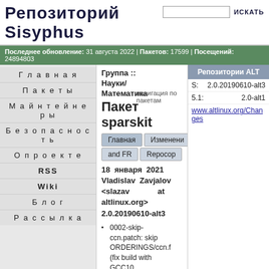Репозиторий Sisyphus
Последнее обновление: 31 августа 2022 | Пакетов: 17599 | Посещений: 24894803
Главная
Пакеты
Майнтейнеры
Безопасность
О проекте
RSS
Wiki
Блог
Рассылка
Группа :: Науки/Математика
Пакет sparskit
навигация по пакетам
Главная  Изменени  and FR  Repocop
18 января 2021 Vladislav Zavjalov <slazav at altlinux.org> 2.0.20190610-alt3
0002-skip-ccn.patch: skip ORDERINGS/ccn.f (fix build with GCC10, recommendation by Yousuf Saeed
| Репозитории ALT |
| --- |
| S: | 2.0.20190610-alt3 |
| 5.1: | 2.0-alt1 |
| www.altlinux.org/Changes |  |